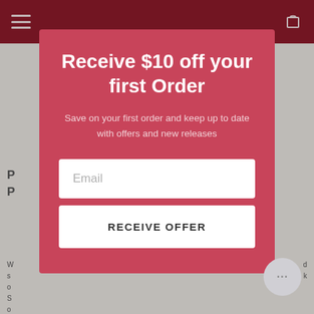Receive $10 off your first Order
Save on your first order and keep up to date with offers and new releases
Email
RECEIVE OFFER